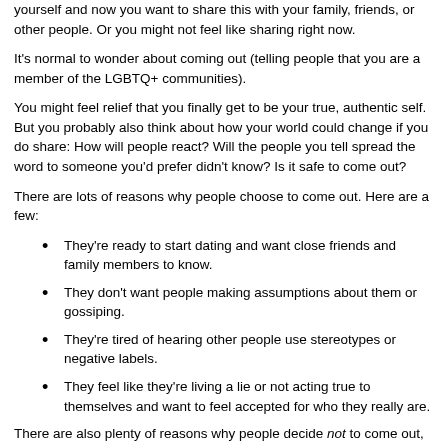yourself and now you want to share this with your family, friends, or other people. Or you might not feel like sharing right now.
It's normal to wonder about coming out (telling people that you are a member of the LGBTQ+ communities).
You might feel relief that you finally get to be your true, authentic self. But you probably also think about how your world could change if you do share: How will people react? Will the people you tell spread the word to someone you'd prefer didn't know? Is it safe to come out?
There are lots of reasons why people choose to come out. Here are a few:
They're ready to start dating and want close friends and family members to know.
They don't want people making assumptions about them or gossiping.
They're tired of hearing other people use stereotypes or negative labels.
They feel like they're living a lie or not acting true to themselves and want to feel accepted for who they really are.
There are also plenty of reasons why people decide not to come out, such as: